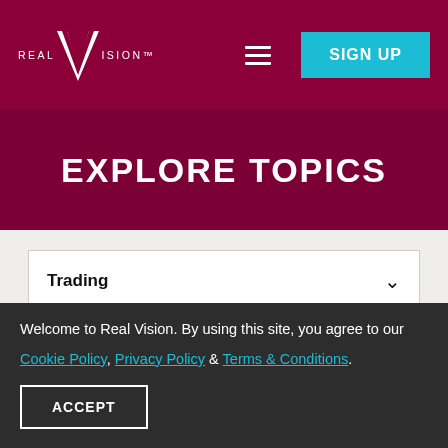REAL VISION™
EXPLORE TOPICS
Trading ▾
TRADING
Welcome to Real Vision. By using this site, you agree to our Cookie Policy, Privacy Policy & Terms & Conditions.
ACCEPT